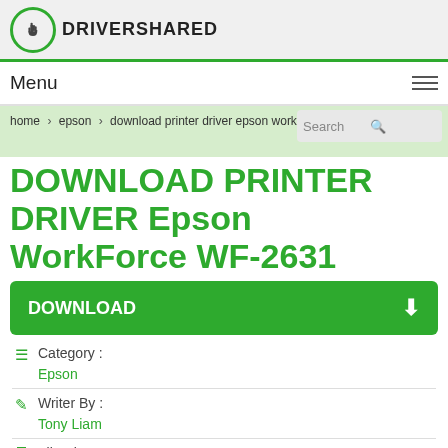[Figure (logo): DriverShared logo with hand pointer icon in green circle and bold text DRIVERSHARED]
Menu
home > epson > download printer driver epson workforce wf-2631
DOWNLOAD PRINTER DRIVER Epson WorkForce WF-2631
DOWNLOAD
Category : Epson
Writer By : Tony Liam
File Size :